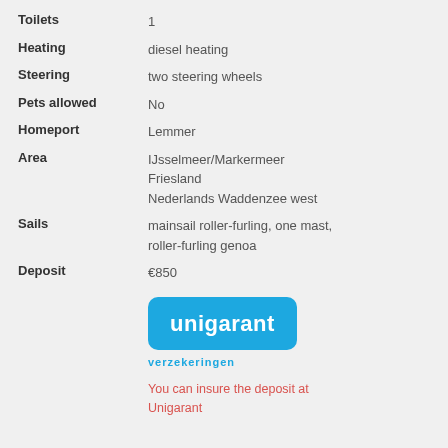Toilets: 1
Heating: diesel heating
Steering: two steering wheels
Pets allowed: No
Homeport: Lemmer
Area: IJsselmeer/Markermeer
Friesland
Nederlands Waddenzee west
Sails: mainsail roller-furling, one mast, roller-furling genoa
Deposit: €850
[Figure (logo): Unigarant verzekeringen logo — blue rounded rectangle with white bold text 'unigarant' and cyan text 'verzekeringen' below]
You can insure the deposit at Unigarant